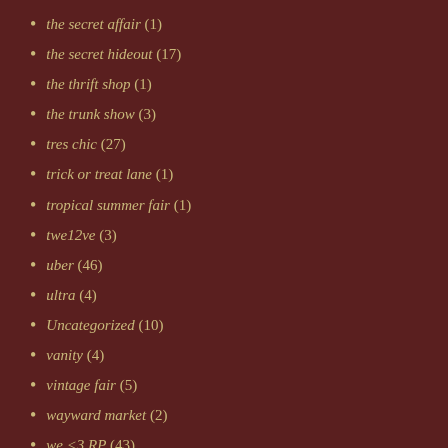the secret affair (1)
the secret hideout (17)
the thrift shop (1)
the trunk show (3)
tres chic (27)
trick or treat lane (1)
tropical summer fair (1)
twe12ve (3)
uber (46)
ultra (4)
Uncategorized (10)
vanity (4)
vintage fair (5)
wayward market (2)
we <3 RP (43)
whimsical (20)
winter trend (3)
women only hunt (2)